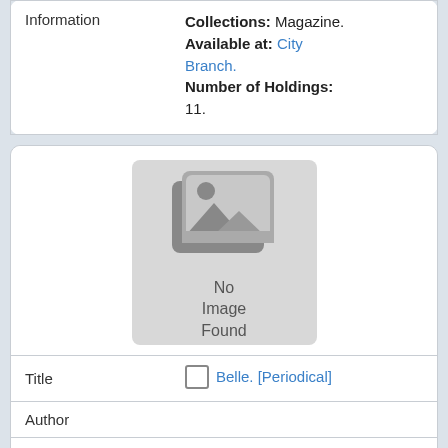| Information | Collections: Magazine.
Available at: City Branch.
Number of Holdings: 11. |
[Figure (illustration): No Image Found placeholder icon showing stacked images graphic with mountains and sun]
| Title | Belle. [Periodical] |
| Author |  |
| Year | 1972 |
| Flags | [barcode icon] [cart icon] |
| Holding | Shelf Location: M. |